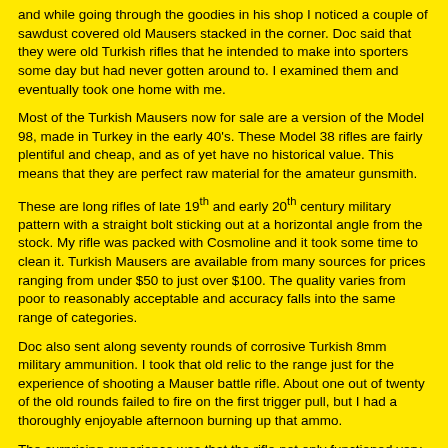and while going through the goodies in his shop I noticed a couple of sawdust covered old Mausers stacked in the corner. Doc said that they were old Turkish rifles that he intended to make into sporters some day but had never gotten around to. I examined them and eventually took one home with me.
Most of the Turkish Mausers now for sale are a version of the Model 98, made in Turkey in the early 40's. These Model 38 rifles are fairly plentiful and cheap, and as of yet have no historical value. This means that they are perfect raw material for the amateur gunsmith.
These are long rifles of late 19th and early 20th century military pattern with a straight bolt sticking out at a horizontal angle from the stock. My rifle was packed with Cosmoline and it took some time to clean it. Turkish Mausers are available from many sources for prices ranging from under $50 to just over $100. The quality varies from poor to reasonably acceptable and accuracy falls into the same range of categories.
Doc also sent along seventy rounds of corrosive Turkish 8mm military ammunition. I took that old relic to the range just for the experience of shooting a Mauser battle rifle. About one out of twenty of the old rounds failed to fire on the first trigger pull, but I had a thoroughly enjoyable afternoon burning up that ammo.
The surprising experience was that the rifle not only functioned very smoothly, it was still accurate and dependable. I liked the heft and handling.